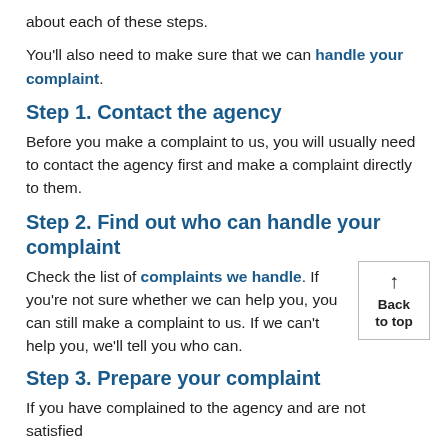about each of these steps.
You'll also need to make sure that we can handle your complaint.
Step 1. Contact the agency
Before you make a complaint to us, you will usually need to contact the agency first and make a complaint directly to them.
Step 2. Find out who can handle your complaint
Check the list of complaints we handle. If you're not sure whether we can help you, you can still make a complaint to us. If we can't help you, we'll tell you who can.
Step 3. Prepare your complaint
If you have complained to the agency and are not satisfied